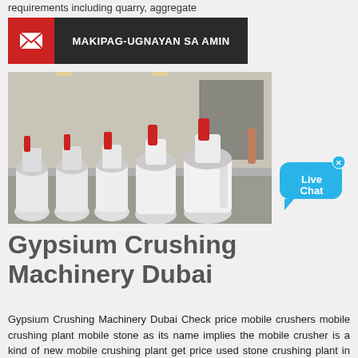requirements including quarry, aggregate
[Figure (illustration): Contact us banner with red envelope icon and dark background reading MAKIPAG-UGNAYAN SA AMIN]
[Figure (photo): Row of white industrial cone crusher machines with red tops lined up in a factory/warehouse setting]
[Figure (other): Live Chat bubble button in blue]
Gypsium Crushing Machinery Dubai
Gypsium Crushing Machinery Dubai Check price mobile crushers mobile crushing plant mobile stone as its name implies the mobile crusher is a kind of new mobile crushing plant get price used stone crushing plant in uae arcadia